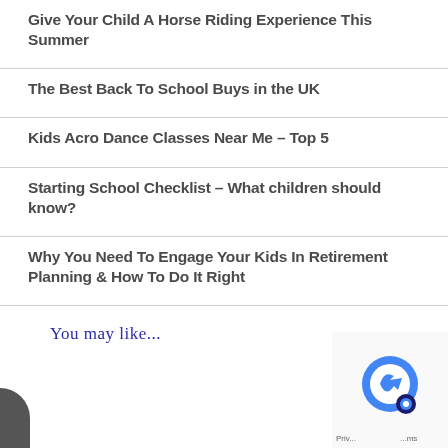Give Your Child A Horse Riding Experience This Summer
The Best Back To School Buys in the UK
Kids Acro Dance Classes Near Me – Top 5
Starting School Checklist – What children should know?
Why You Need To Engage Your Kids In Retirement Planning & How To Do It Right
You may like...
[Figure (logo): reCAPTCHA widget in bottom right corner]